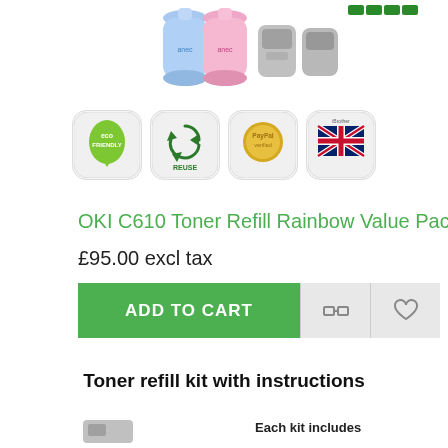[Figure (photo): Product images: toner refill bottles (blue, pink) and toner cartridges at top of page]
[Figure (infographic): Four badge icons: Eco Friendly, Reuse (recycle), PayPal Verified, UK flag]
OKI C610 Toner Refill Rainbow Value Pack
£95.00 excl tax
ADD TO CART
Toner refill kit with instructions
Each kit includes